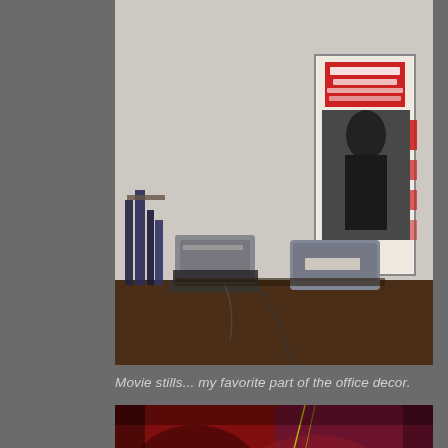[Figure (photo): Office desk photo showing books, a printer, and a Rolling Stones concert poster on a desk with white walls in background.]
Movie stills... my favorite part of the office decor.
[Figure (photo): Abstract close-up photo with deep red/crimson tones showing blurred lights and shapes, appears to be a concert or nightlife scene.]